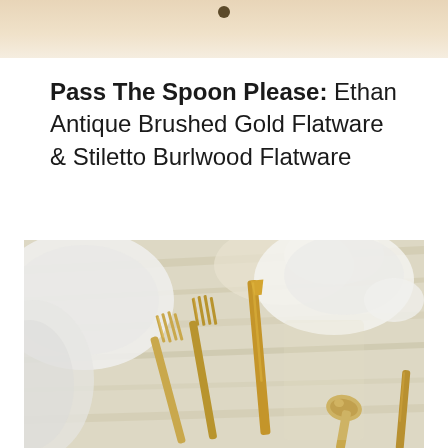[Figure (photo): Top portion of a product photo, cropped, showing a beige/cream background with a small dark circular element near the top center — likely a utensil handle tip.]
Pass The Spoon Please: Ethan Antique Brushed Gold Flatware & Stiletto Burlwood Flatware
[Figure (photo): Close-up overhead photo of gold brushed flatware — forks, knife, and spoon — arranged on a light wood surface with white plates/bowls in the background. The flatware has a warm antique gold/brass finish.]